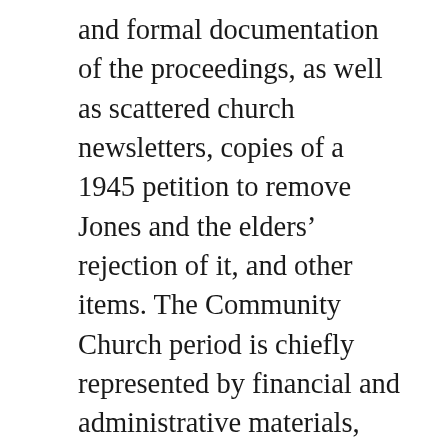and formal documentation of the proceedings, as well as scattered church newsletters, copies of a 1945 petition to remove Jones and the elders' rejection of it, and other items. The Community Church period is chiefly represented by financial and administrative materials, while Jones's activist role is reflected in pamphlets, official correspondence, and Fellowship of Southern Churchmen documents. Among the materials on Jones's activism are several items relating to his involvement in the 1947 “Journey of Reconciliation” (or “Freedom Ride”), including “We Challenged JIM CROW!” a pamphlet by George House and Bayard Rustin; a handwritten account of Jones’s involvement; photocopies of court transcripts;